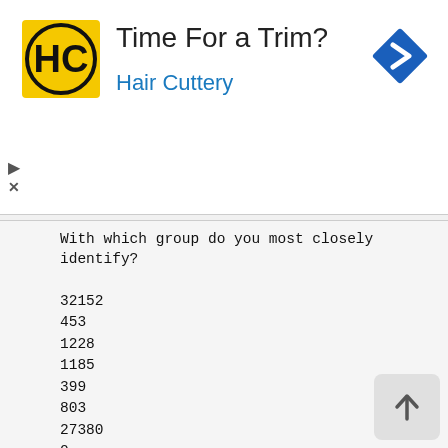[Figure (logo): Hair Cuttery advertisement banner with HC logo, 'Time For a Trim?' heading and 'Hair Cuttery' subtitle in blue, with a blue navigation diamond icon top right]
With which group do you most closely identify?
32152
453
1228
1185
399
803
27380
0
1000

1
2
3
4
5